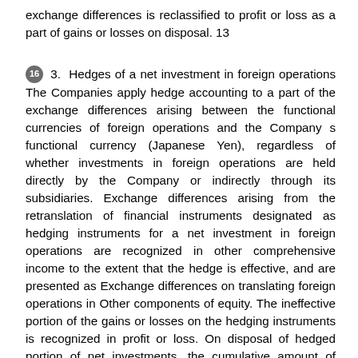exchange differences is reclassified to profit or loss as a part of gains or losses on disposal. 13
16 3. Hedges of a net investment in foreign operations The Companies apply hedge accounting to a part of the exchange differences arising between the functional currencies of foreign operations and the Company s functional currency (Japanese Yen), regardless of whether investments in foreign operations are held directly by the Company or indirectly through its subsidiaries. Exchange differences arising from the retranslation of financial instruments designated as hedging instruments for a net investment in foreign operations are recognized in other comprehensive income to the extent that the hedge is effective, and are presented as Exchange differences on translating foreign operations in Other components of equity. The ineffective portion of the gains or losses on the hedging instruments is recognized in profit or loss. On disposal of hedged portion of net investments, the cumulative amount of exchange differences is reclassified to profit or loss as a part of gains or losses on disposal. (3.) Financial Instruments The Companies have early-applied International Financial Reporting Standard No. 9 Financial